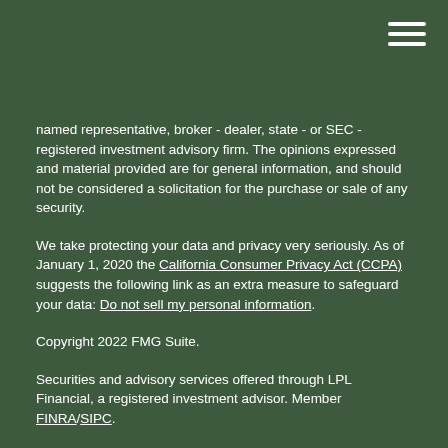named representative, broker - dealer, state - or SEC - registered investment advisory firm. The opinions expressed and material provided are for general information, and should not be considered a solicitation for the purchase or sale of any security.
We take protecting your data and privacy very seriously. As of January 1, 2020 the California Consumer Privacy Act (CCPA) suggests the following link as an extra measure to safeguard your data: Do not sell my personal information.
Copyright 2022 FMG Suite.
Securities and advisory services offered through LPL Financial, a registered investment advisor. Member FINRA/SIPC.
The LPL Financial Registered Representatives associated with this site may only discuss and/or transact securities business with residents of the following states: FL & GA
This website may contain concepts that have legal, accounting and tax implications. It is not intended to provide legal, accounting, or tax advice. You may wish to consult an attorney, tax advisor, or accountant regarding your specific situation. No representations are made as to the accuracy of the information contained herein or any information contained in any link provided herein.
Important Consumer Information: